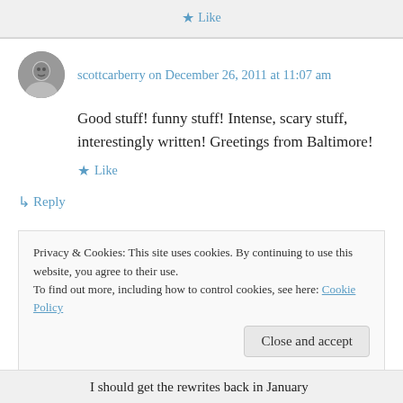★ Like
scottcarberry on December 26, 2011 at 11:07 am
Good stuff! funny stuff! Intense, scary stuff, interestingly written! Greetings from Baltimore!
★ Like
↳ Reply
Privacy & Cookies: This site uses cookies. By continuing to use this website, you agree to their use.
To find out more, including how to control cookies, see here: Cookie Policy
Close and accept
I should get the rewrites back in January